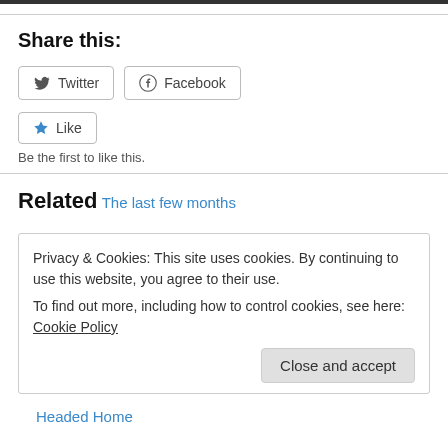Share this:
[Figure (other): Twitter and Facebook share buttons, and a Like button with star icon. Text below: Be the first to like this.]
Be the first to like this.
Related
The last few months
Privacy & Cookies: This site uses cookies. By continuing to use this website, you agree to their use.
To find out more, including how to control cookies, see here: Cookie Policy
Close and accept
Headed Home